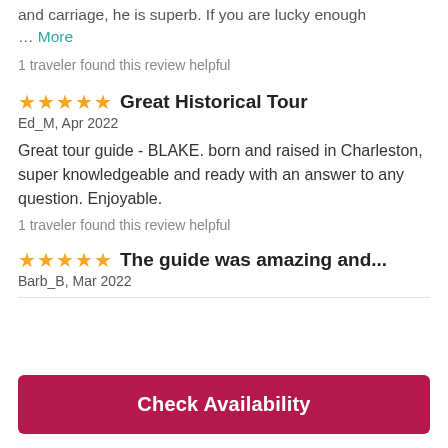and carriage, he is superb. If you are lucky enough … More
1 traveler found this review helpful
Great Historical Tour
Ed_M, Apr 2022
Great tour guide - BLAKE. born and raised in Charleston, super knowledgeable and ready with an answer to any question. Enjoyable.
1 traveler found this review helpful
The guide was amazing and...
Barb_B, Mar 2022
Check Availability